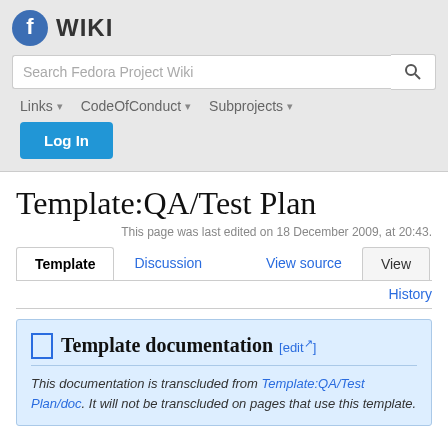[Figure (logo): Fedora logo (blue circle with stylized f) and WIKI text]
Search Fedora Project Wiki
Links ▾   CodeOfConduct ▾   Subprojects ▾
Log In
Template:QA/Test Plan
This page was last edited on 18 December 2009, at 20:43.
Template   Discussion   View source   View
History
Template documentation [edit]
This documentation is transcluded from Template:QA/Test Plan/doc. It will not be transcluded on pages that use this template.